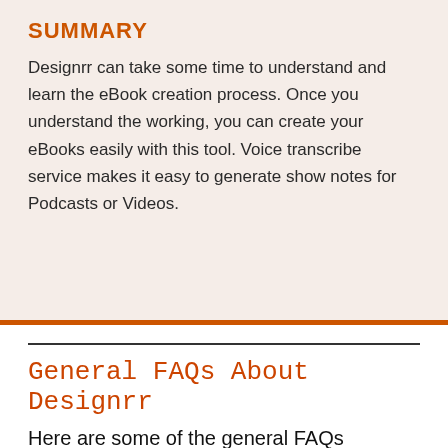SUMMARY
Designrr can take some time to understand and learn the eBook creation process. Once you understand the working, you can create your eBooks easily with this tool. Voice transcribe service makes it easy to generate show notes for Podcasts or Videos.
General FAQs About Designrr
Here are some of the general FAQs